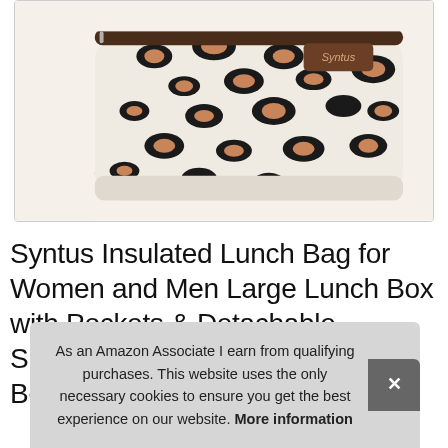[Figure (photo): A leopard print insulated lunch bag/backpack with dark brown zipper and shoulder strap, cream background with black and brown spots, small brown leather label reading 'Syntus' visible on the bag.]
Syntus Insulated Lunch Bag for Women and Men Large Lunch Box with Pockets & Detachable Shoulder Strap fo... Be...
As an Amazon Associate I earn from qualifying purchases. This website uses the only necessary cookies to ensure you get the best experience on our website. More information